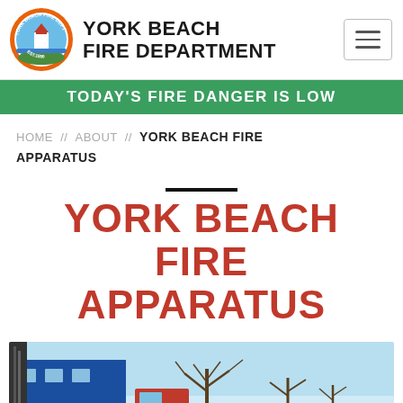York Beach Fire Department
TODAY'S FIRE DANGER IS LOW
HOME // ABOUT // YORK BEACH FIRE APPARATUS
YORK BEACH FIRE APPARATUS
[Figure (photo): Exterior photo of York Beach Fire Department building in winter, with bare trees and snow, fire trucks partially visible]